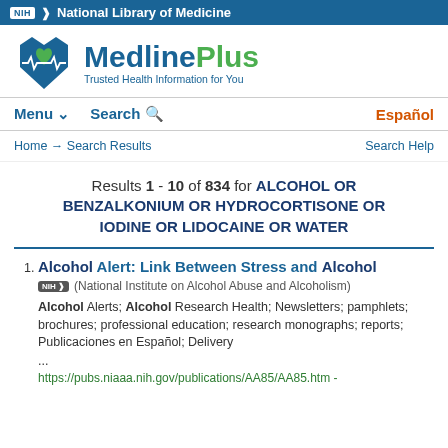NIH National Library of Medicine
[Figure (logo): MedlinePlus logo with green heart/monitor icon and text 'MedlinePlus Trusted Health Information for You']
Menu ∨   Search 🔍   Español
Home → Search Results   Search Help
Results 1 - 10 of 834 for ALCOHOL OR BENZALKONIUM OR HYDROCORTISONE OR IODINE OR LIDOCAINE OR WATER
Alcohol Alert: Link Between Stress and Alcohol
(National Institute on Alcohol Abuse and Alcoholism)
Alcohol Alerts; Alcohol Research Health; Newsletters; pamphlets; brochures; professional education; research monographs; reports; Publicaciones en Español; Delivery ...
https://pubs.niaaa.nih.gov/publications/AA85/AA85.htm -